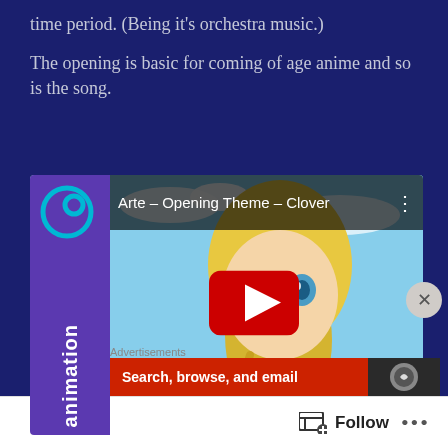time period. (Being it's orchestra music.)
The opening is basic for coming of age anime and so is the song.
[Figure (screenshot): Embedded YouTube video thumbnail for 'Arte – Opening Theme – Clover' showing an anime girl with blonde hair and blue eyes against a blue sky background, with a Crunchyroll animation sidebar branding and a YouTube play button overlay.]
Advertisements
[Figure (screenshot): Advertisement banner with red background and text 'Search, browse, and email' and a dark section with an icon on the right.]
Follow